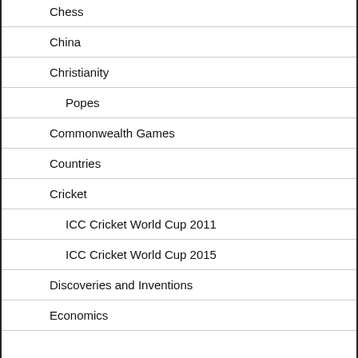Chess
China
Christianity
Popes
Commonwealth Games
Countries
Cricket
ICC Cricket World Cup 2011
ICC Cricket World Cup 2015
Discoveries and Inventions
Economics